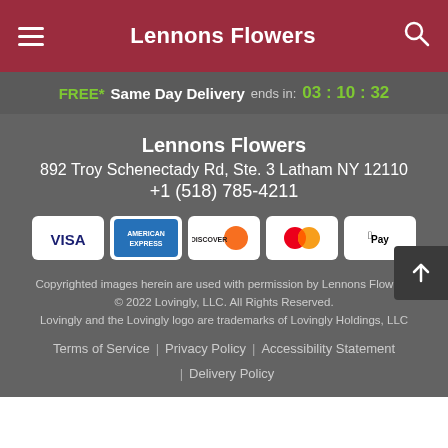Lennons Flowers
FREE* Same Day Delivery ends in: 03 : 10 : 32
Lennons Flowers
892 Troy Schenectady Rd, Ste. 3 Latham NY 12110
+1 (518) 785-4211
[Figure (other): Payment method icons: Visa, American Express, Discover, Mastercard, Apple Pay]
Copyrighted images herein are used with permission by Lennons Flowers.
© 2022 Lovingly, LLC. All Rights Reserved.
Lovingly and the Lovingly logo are trademarks of Lovingly Holdings, LLC
Terms of Service | Privacy Policy | Accessibility Statement | Delivery Policy